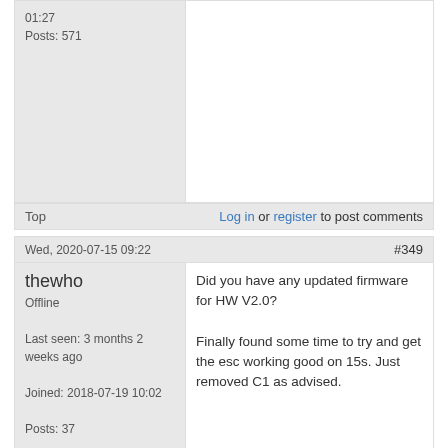01:27
Posts: 571
Top
Log in or register to post comments
Wed, 2020-07-15 09:22   #349
thewho
Offline
Last seen: 3 months 2 weeks ago
Joined: 2018-07-19 10:02
Posts: 37
Did you have any updated firmware for HW V2.0?

Finally found some time to try and get the esc working good on 15s. Just removed C1 as advised.
Top
Log in or register to post comments